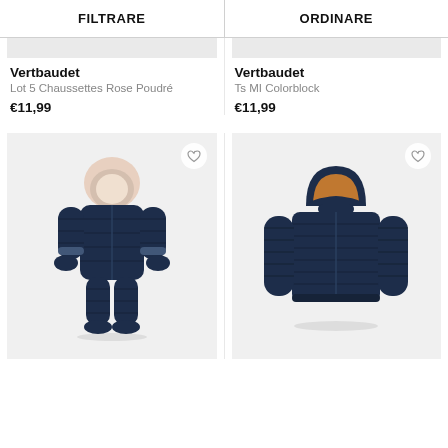FILTRARE | ORDINARE
Vertbaudet
Lot 5 Chaussettes Rose Poudré
€11,99
Vertbaudet
Ts MI Colorblock
€11,99
[Figure (photo): Navy blue baby snowsuit with furry beige hood, quilted fabric with attached mittens and footies, Vertbaudet brand]
[Figure (photo): Navy blue children's puffer jacket with orange/mustard interior lining showing on hood, quilted/channel stitched, Vertbaudet brand]